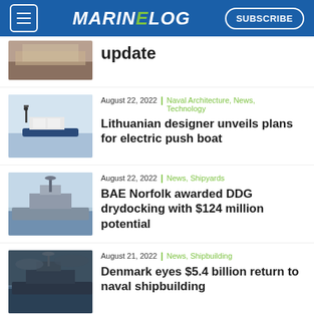MARINELOG — SUBSCRIBE
update
August 22, 2022 | Naval Architecture, News, Technology
Lithuanian designer unveils plans for electric push boat
August 22, 2022 | News, Shipyards
BAE Norfolk awarded DDG drydocking with $124 million potential
August 21, 2022 | News, Shipbuilding
Denmark eyes $5.4 billion return to naval shipbuilding